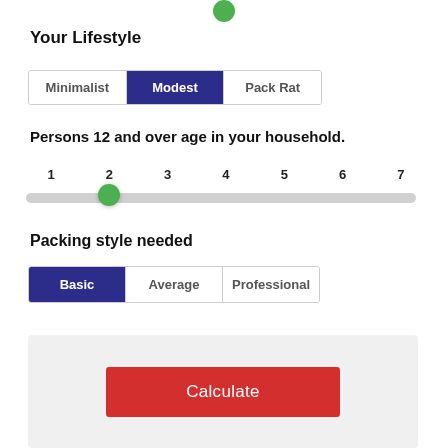Your Lifestyle
Minimalist | Modest | Pack Rat (Modest selected)
Persons 12 and over age in your household.
Slider: 1, 2, 3, 4, 5, 6, 7 — value set to 2
Packing style needed
Basic | Average | Professional (Basic selected)
Calculate